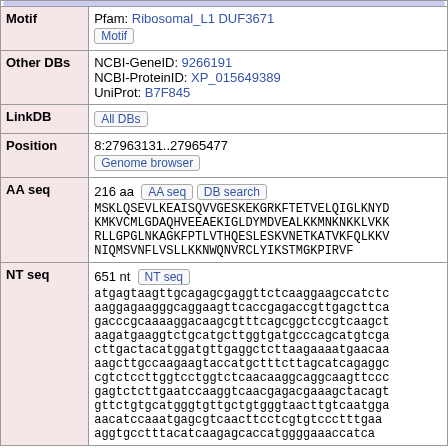| Field | Value |
| --- | --- |
| Motif | Pfam: Ribosomal_L1 DUF3671 [Motif button] |
| Other DBs | NCBI-GeneID: 9266191
NCBI-ProteinID: XP_015649389
UniProt: B7F845 |
| LinkDB | [All DBs button] |
| Position | 8:27963131..27965477
[Genome browser button] |
| AA seq | 216 aa [AA seq button] [DB search button]
MSKLQSEVLKEAISQVVGESKEKGRKFTETVELQIGLKNYD
KMKVCMLGDAQHVEEAEKIGLDYMDVEALKKMNKNKKLVKK
RLLGPGLNKAGKFPTLVTHQESLESKVNETKATVKFQLKKV
NIQMSVNFLVSLLKKNWQNVRCLYIKSTMGKPIRVF |
| NT seq | 651 nt [NT seq button]
atgagtaagttgcagagcgaggttctcaaggaagccatctc
aaggagaagggcaggaagttcaccgagaccgttgagcttca
gacccgcaaaaggacaagcgtttcagcggctccgtcaagct
aagatgaaggtctgcatgcttggtgatgcccagcatgtcga
cttgactacatggatgttgaggctcttaagaaaatgaacaa
aagcttgccaagaagtaccatgctttcttagcatcagaggc
cgtctccttggtcctggtctcaacaaggcaggcaagttccc
gagtctcttgaatccaaggtcaacgagacgaaagctacagt
gttctgtgcatgggtgttgctgtgggtaacttgtcaatgga
aacatccaaatgagcgtcaacttcctcgtgtccctttgaa
aggtgcctttacatcaagagcaccatggggaaaccatca |